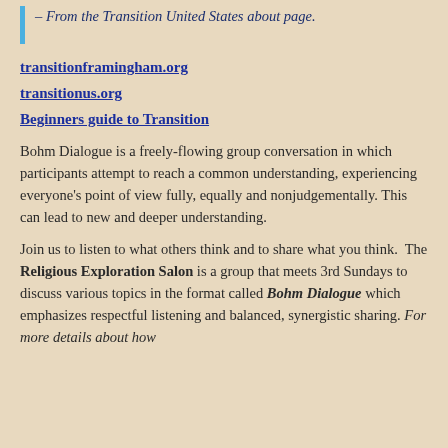– From the Transition United States about page.
transitionframingham.org
transitionus.org
Beginners guide to Transition
Bohm Dialogue is a freely-flowing group conversation in which participants attempt to reach a common understanding, experiencing everyone's point of view fully, equally and nonjudgementally. This can lead to new and deeper understanding.
Join us to listen to what others think and to share what you think. The Religious Exploration Salon is a group that meets 3rd Sundays to discuss various topics in the format called Bohm Dialogue which emphasizes respectful listening and balanced, synergistic sharing. For more details about how